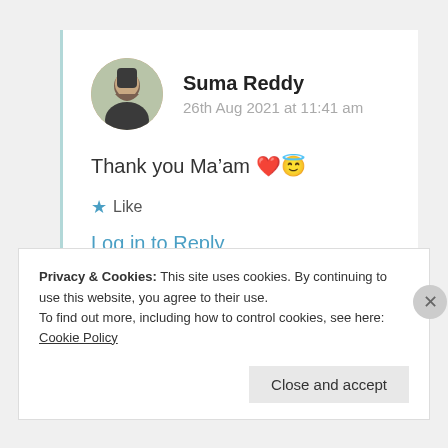Suma Reddy
26th Aug 2021 at 11:41 am
Thank you Ma’am ❤️😇
★ Like
Log in to Reply
Privacy & Cookies: This site uses cookies. By continuing to use this website, you agree to their use.
To find out more, including how to control cookies, see here: Cookie Policy
Close and accept